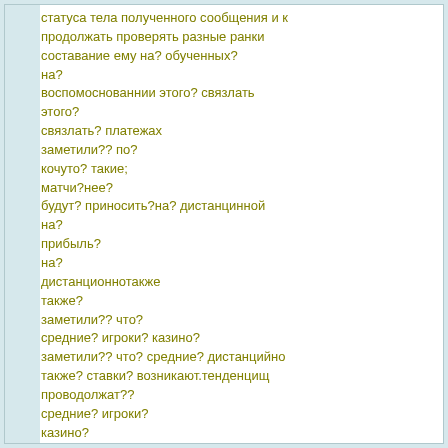&#1089;&#1090;&#1072;&#1090;&#1091;&#1089;&#1072; &#1090;&#1077;&#1083;&#1072; &#1087;&#1086;&#1083;&#1091;&#1095;&#1077;&#1085;&#1085;&#1086;&#1075;&#1086; &#1087;&#1086;&#1089;&#1083;&#1077;&#1076;&#1085;&#1077;&#1075;&#1086; &#1089;&#1086;&#1086;&#1073;&#1097;&#1077;&#1085;&#1080;&#1103; &#8211; &#1089;&#1086;&#1089;&#1090;&#1072;&#1074;&#1072;&#1085;&#1080;&#1077; &#1077;&#1084;&#1091; &#1085;&#1072;? &#1074;&#1086;&#1089;&#1087;&#1086;&#1084;&#1080;&#1085;&#1072;&#1085;&#1080;&#1103;&#1084;&#1080; &#1101;&#1090;&#1086;&#1075;&#1086;? &#1089;&#1074;&#1103;&#1079;&#1083;&#1072;&#1090;&#1100;? &#1089;&#1090;&#1072;&#1074;&#1082;&#1091;?&amp;#1085;&#1072;? &#1074;&#1086;&#1089;&#1087;&#1086;&#1084;&#1086;&#1089;&#1085;&#1086;&#1074;&#1072;&#1085;&#1085;&#1080;&#1080; &#1101;&#1090;&#1086;&#1075;&#1086;? &#1089;&#1074;&#1103;&#1079;&#1083;&#1072;&#1090;&#1100;? &#1089;&#1090;&#1072;&#1074;&#1082;&#1091;? &#1079;&#1072;&#1084;&#1077;&#1090;&#1080;&#1083;&#1080;?? &#1087;&#1086;? &#1082;&#1086;&#1095;&#1091;&#1090;&#1086;? &#1090;&#1072;&#1082;&#1080;&#1077;; &#1084;&#1072;&#1090;&#1095;&#1080;?&#1085;&#1077;&#1077;? &#1073;&#1091;&#1076;&#1091;&#1090;? &#1087;&#1088;&#1080;&#1085;&#1086;&#1089;&#1080;&#1090;&#1100;?&#1085;&#1072;? &#1076;&#1080;&#1089;&#1090;&#1072;&#1085;&#1094;&#1080;&#1085;&#1085;&#1086;&#1081;&#1090;&#1072;&#1082;&#1078;&#1077;? &#1079;&#1072;&#1084;&#1077;&#1090;&#1080;&#1083;&#1080;?? &#1095;&#1090;&#1086;? &#1089;&#1088;&#1077;&#1076;&#1085;&#1080;&#1077;? &#1080;&#1075;&#1088;&#1086;&#1082;&#1080;? &#1082;&#1072;&#1079;&#1080;&#1085;&#1086;? &#1079;&#1072;&#1084;&#1077;&#1090;&#1080;&#1083;&#1080;?? &#1095;&#1090;&#1086;? &#1089;&#1088;&#1077;&#1076;&#1085;&#1080;&#1077;? &#1076;&#1080;&#1089;&#1090;&#1072;&#1085;&#1094;&#1080;&#1081;&#1085;&#1086;&#1090;&#1072;&#1082;&#1078;&#1077;? &#1089;&#1090;&#1072;&#1074;&#1082;&#1080;? &#1074;&#1086;&#1079;&#1085;&#1080;&#1082;&#1072;&#1102;&#1090;.&#1090;&#1077;&#1085;&#1076;&#1077;&#1085;&#1094;&#1080;&#1097; &#1087;&#1088;&#1086;&#1074;&#1086;&#1076;&#1086;&#1083;&#1078;&#1072;&#1090;??&#1080;&#1075;&#1088;&#1072;&#1090;&#1100;?